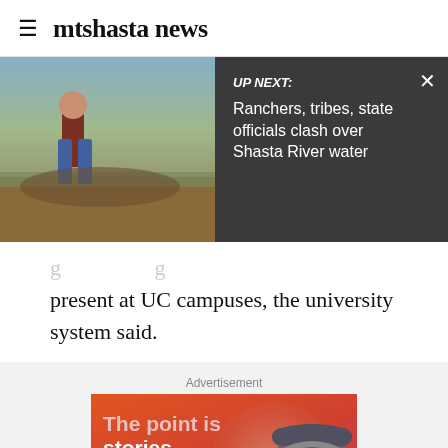≡ mtshasta news
[Figure (screenshot): UP NEXT banner overlay showing a rancher standing on dirt with dark overlay panel. Text: UP NEXT: Ranchers, tribes, state officials clash over Shasta River water. Close X button top right.]
present at UC campuses, the university system said.
Advertisement
[Figure (photo): Advertisement banner with orange-red gradient background, man wearing cap and headphones in silhouette. Text: The point is stories that speak to you]